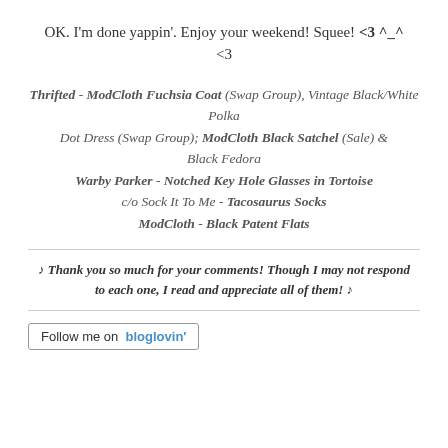OK. I'm done yappin'. Enjoy your weekend! Squee! <3 ^_^ <3
Thrifted - ModCloth Fuchsia Coat (Swap Group), Vintage Black/White Polka Dot Dress (Swap Group); ModCloth Black Satchel (Sale) & Black Fedora
Warby Parker - Notched Key Hole Glasses in Tortoise
c/o Sock It To Me - Tacosaurus Socks
ModCloth - Black Patent Flats
♪ Thank you so much for your comments! Though I may not respond to each one, I read and appreciate all of them! ♪
Follow me on bloglovin'